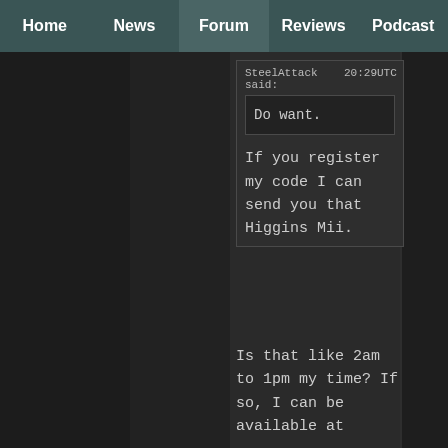Home | News | Forum | Reviews | Podcast
SteelAttack 20:29UTC said:
Do want.
If you register my code I can send you that Higgins Mii.
Is that like 2am to 1pm my time? If so, I can be available at